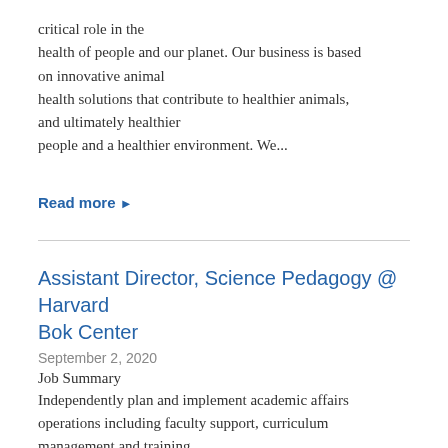critical role in the health of people and our planet. Our business is based on innovative animal health solutions that contribute to healthier animals, and ultimately healthier people and a healthier environment. We...
Read more ▶
Assistant Director, Science Pedagogy @ Harvard Bok Center
September 2, 2020
Job Summary
Independently plan and implement academic affairs operations including faculty support, curriculum management and training.